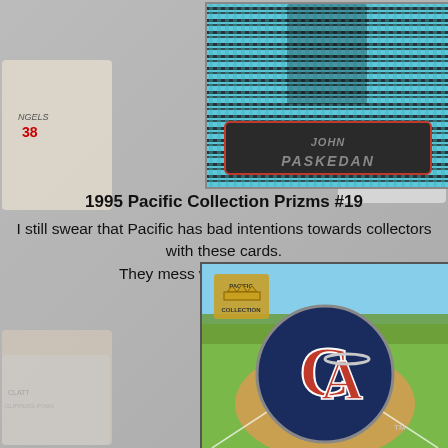[Figure (photo): Top baseball card: 1995 Pacific Collection Prizms #19 showing a batter with holographic/prismatic background pattern and player name 'John Paskedan' in stylized text]
1995 Pacific Collection Prizms #19
I still swear that Pacific has bad intentions towards collectors with these cards.
They mess with my brain man.
[Figure (photo): Bottom baseball card showing California Angels CA logo on dark navy circle with baseball diamond background and Pacific Collection crown logo in upper left]